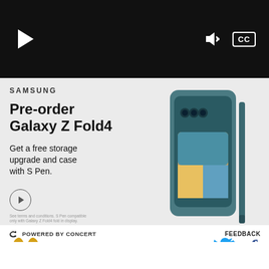[Figure (screenshot): Video player bar with black background, play button on left, volume and CC controls on right]
[Figure (screenshot): Samsung advertisement: Pre-order Galaxy Z Fold4, Get a free storage upgrade and case with S Pen. Shows teal Samsung Galaxy Z Fold4 phone and S Pen.]
POWERED BY CONCERT
FEEDBACK
[Figure (logo): Website logo - red and gold emblem at bottom left]
[Figure (illustration): Twitter bird icon in blue and Facebook f icon in dark at bottom right]